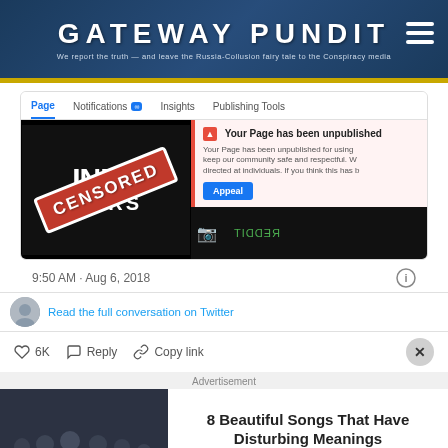GATEWAY PUNDIT — We report the truth — and leave the Russia-Collusion fairy tale to the Conspiracy media
[Figure (screenshot): Facebook page management screenshot showing 'Your Page has been unpublished' notification with a warning icon, InfoWars page thumbnail with red CENSORED stamp, tabs for Page, Notifications, Insights, Publishing Tools, and an Appeal button]
9:50 AM · Aug 6, 2018
Read the full conversation on Twitter
6K  Reply  Copy link
Advertisement
[Figure (photo): Group of people (band) posing for photo, dark background]
8 Beautiful Songs That Have Disturbing Meanings
Brainberries